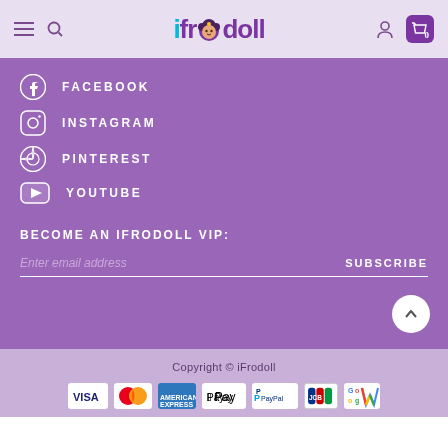[Figure (screenshot): iFrodoll website header with hamburger menu, search icon, colorful logo, user icon, and cart with 0]
FACEBOOK
INSTAGRAM
PINTEREST
YOUTUBE
BECOME AN IFRODOLL VIP:
Enter email address    SUBSCRIBE
Copyright © iFrodoll
[Figure (logo): Payment method icons: VISA, MasterCard, American Express, Apple Pay, PayPal, JCB, Google Pay]